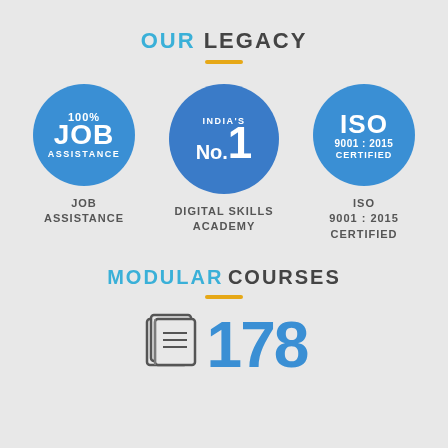OUR LEGACY
[Figure (infographic): Three blue circles: 100% JOB ASSISTANCE, INDIA'S No.1, ISO 9001:2015 CERTIFIED with labels below each circle]
JOB ASSISTANCE
DIGITAL SKILLS ACADEMY
ISO 9001 : 2015 CERTIFIED
MODULAR COURSES
178